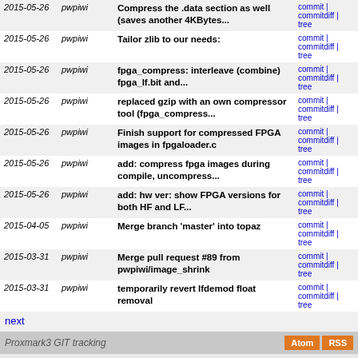| Date | Author | Message | Links |
| --- | --- | --- | --- |
| 2015-05-26 | pwpiwi | Compress the .data section as well (saves another 4KBytes... | commit | commitdiff | tree |
| 2015-05-26 | pwpiwi | Tailor zlib to our needs: | commit | commitdiff | tree |
| 2015-05-26 | pwpiwi | fpga_compress: interleave (combine) fpga_lf.bit and... | commit | commitdiff | tree |
| 2015-05-26 | pwpiwi | replaced gzip with an own compressor tool (fpga_compress... | commit | commitdiff | tree |
| 2015-05-26 | pwpiwi | Finish support for compressed FPGA images in fpgaloader.c | commit | commitdiff | tree |
| 2015-05-26 | pwpiwi | add: compress fpga images during compile, uncompress... | commit | commitdiff | tree |
| 2015-05-26 | pwpiwi | add: hw ver: show FPGA versions for both HF and LF... | commit | commitdiff | tree |
| 2015-04-05 | pwpiwi | Merge branch 'master' into topaz | commit | commitdiff | tree |
| 2015-03-31 | pwpiwi | Merge pull request #89 from pwpiwi/image_shrink | commit | commitdiff | tree |
| 2015-03-31 | pwpiwi | temporarily revert lfdemod float removal | commit | commitdiff | tree |
next
Proxmark3 GIT tracking
Impressum, Datenschutz